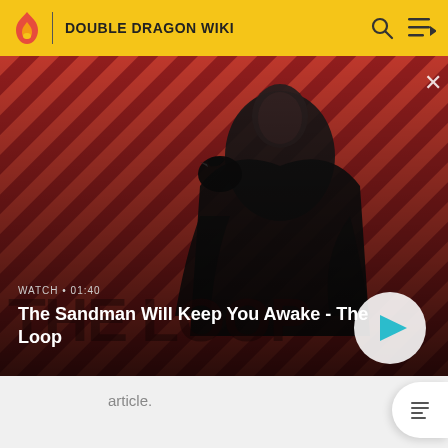DOUBLE DRAGON WIKI
[Figure (screenshot): Video thumbnail banner showing a dark-cloaked figure with a raven on their shoulder against a red diagonal striped background. Text overlay reads WATCH • 01:40 and title The Sandman Will Keep You Awake - The Loop, with a play button on the right.]
article.